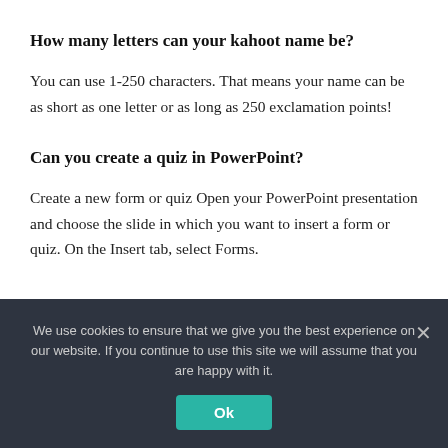How many letters can your kahoot name be?
You can use 1-250 characters. That means your name can be as short as one letter or as long as 250 exclamation points!
Can you create a quiz in PowerPoint?
Create a new form or quiz Open your PowerPoint presentation and choose the slide in which you want to insert a form or quiz. On the Insert tab, select Forms.
We use cookies to ensure that we give you the best experience on our website. If you continue to use this site we will assume that you are happy with it.